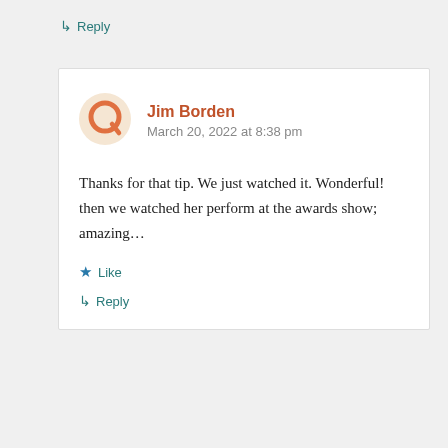↳ Reply
Jim Borden
March 20, 2022 at 8:38 pm
Thanks for that tip. We just watched it. Wonderful! then we watched her perform at the awards show; amazing…
★ Like
↳ Reply